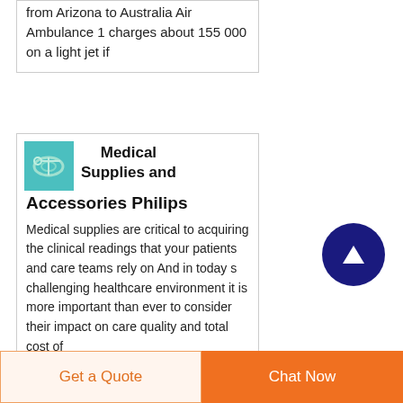from Arizona to Australia Air Ambulance 1 charges about 155 000 on a light jet if
[Figure (photo): Small square image showing medical tubing/supplies on cyan/blue background]
Medical Supplies and Accessories Philips
Medical supplies are critical to acquiring the clinical readings that your patients and care teams rely on And in today s challenging healthcare environment it is more important than ever to consider their impact on care quality and total cost of
[Figure (other): Dark navy circle button with white upward arrow (scroll to top button)]
Get a Quote
Chat Now